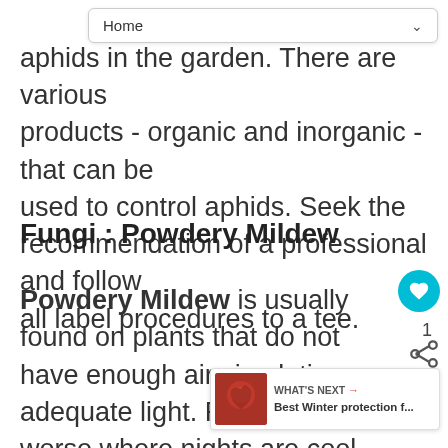Home
pla aphids in the garden. There are various products - organic and inorganic - that can be used to control aphids. Seek the recommendation of a professional and follow all label procedures to a tee.
Fungi : Powdery Mildew
Powdery Mildew is usually found on plants that do not have enough air circulation or adequate light. Problems are worse where nights are cool and days are warm and hum. The powdery white or gray fungus is usually found on the upper surface of leaves. Leaves will often turn yellow or brown, curl up,